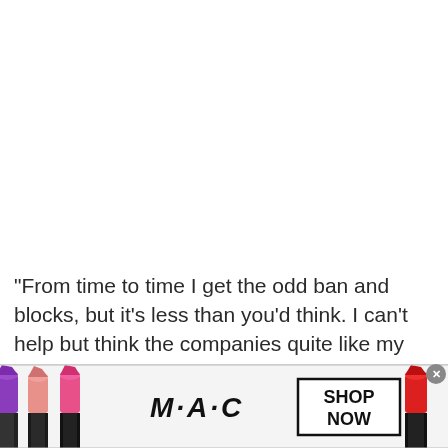"From time to time I get the odd ban and blocks, but it's less than you'd think. I can't help but think the companies quite like my work as it makes people laugh and doesn't
[Figure (advertisement): MAC Cosmetics banner advertisement showing colorful lipsticks (purple, pink, coral, red) on left and right sides, MAC logo in center-left, and a 'SHOP NOW' button in a black-bordered rectangle on the right. A small close (X) button in gray circle at top right corner of the ad.]